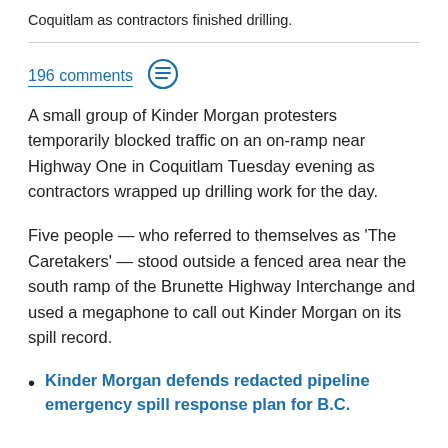Coquitlam as contractors finished drilling.
196 comments
A small group of Kinder Morgan protesters temporarily blocked traffic on an on-ramp near Highway One in Coquitlam Tuesday evening as contractors wrapped up drilling work for the day.
Five people — who referred to themselves as 'The Caretakers' — stood outside a fenced area near the south ramp of the Brunette Highway Interchange and used a megaphone to call out Kinder Morgan on its spill record.
Kinder Morgan defends redacted pipeline emergency spill response plan for B.C.